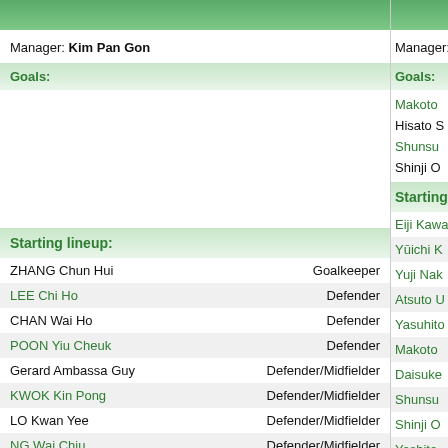Manager: Kim Pan Gon
Goals:
Starting lineup:
| Player | Position |
| --- | --- |
| ZHANG Chun Hui | Goalkeeper |
| LEE Chi Ho | Defender |
| CHAN Wai Ho | Defender |
| POON Yiu Cheuk | Defender |
| Gerard Ambassa Guy | Defender/Midfielder |
| KWOK Kin Pong | Defender/Midfielder |
| LO Kwan Yee | Defender/Midfielder |
| NG Wai Chiu | Defender/Midfielder |
| LI Haiqiang | Midfielder |
| BAI He | Midfielder |
| CHAN Siu Ki | Forward |
Manager:
Goals:
Makoto
Hisato S
Shunsu
Shinji O
Starting
Eiji Kawa
Yūichi K
Yuji Nak
Atsuto U
Yasuhito
Makoto
Daisuke
Shunsu
Shinji O
Yoshito
Tatsuya